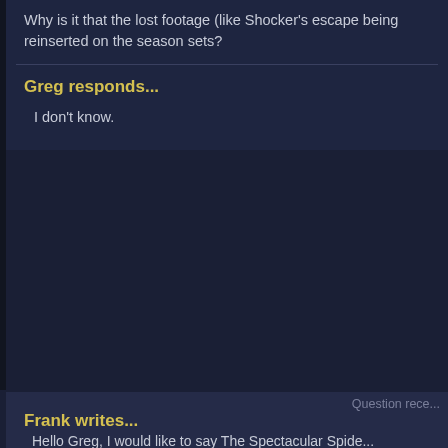Why is it that the lost footage (like Shocker's escape being reinserted on the season sets?
Greg responds...
I don't know.
Question rece...
Frank writes...
Hello Greg, I would like to say The Spectacular Spide... entertaining shows I have ever seen. The best Spide... movies) I do have a few questions though...
1.) In Shear Strength Morris Bench made a cameo, n... he might be in Season 3 or something, but there was... about the sinister syndicate and you said most of tho... villains. So I was wondering is Hydro Man declared a... fantastic four.
2. Just to clear things up. The correct answers to...